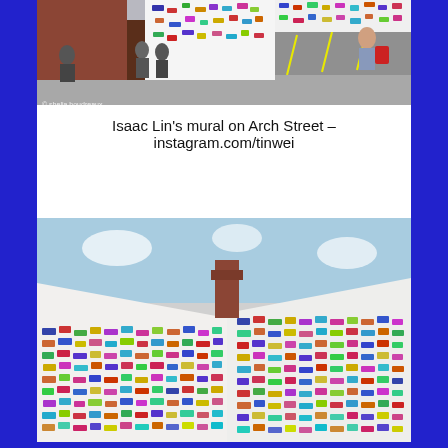[Figure (photo): Street-level photograph of Isaac Lin's mural on Arch Street. Several people are standing near a brown door on a brick building. The mural covers a large wall with colorful geometric patterns. A woman with a red backpack is visible on the right. Photo credit: © shelia boudreaux]
Isaac Lin's mural on Arch Street –  instagram.com/tinwei
[Figure (photo): Close-up photograph of Isaac Lin's mural on Arch Street showing a corner of the building. The mural features dense, colorful geometric patterns covering the entire wall surface in various colors including blue, purple, red, green, yellow, and orange. A brick chimney is visible in the center of the image against a light blue sky.]